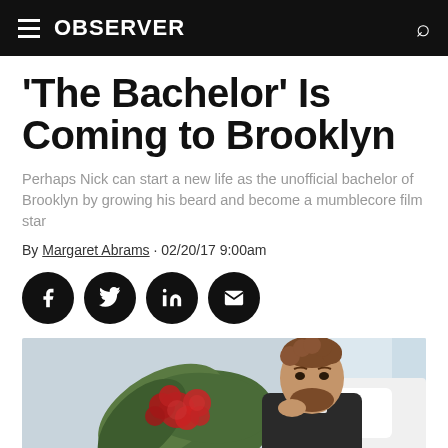OBSERVER
'The Bachelor' Is Coming to Brooklyn
Perhaps Nick can start a new life as the unofficial bachelor of Brooklyn by growing his beard and become a mumblecore film star
By Margaret Abrams · 02/20/17 9:00am
[Figure (infographic): Social sharing buttons: Facebook, Twitter, LinkedIn, Email — four black circular icons in a row]
[Figure (photo): A man with curly hair and a beard sitting casually next to a large bouquet of red roses with green palm-leaf wrapping, in a bright room with white furnishings]